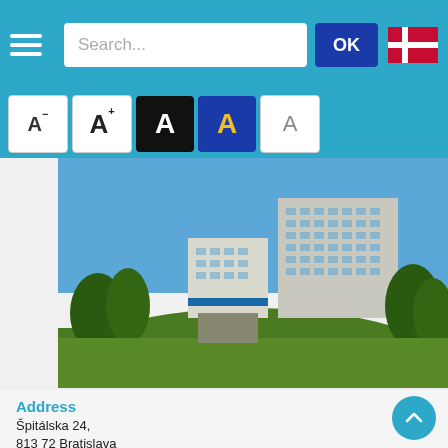Search... OK
[Figure (screenshot): Font size toolbar with five A buttons: A- (smaller), A+ (larger), A on black background, A on blue background with yellow color, A on white background]
[Figure (photo): Photograph of a large multi-story brutalist-style building (hospital) in Bratislava, surrounded by green trees and grass, under a clear blue sky]
Address
Špitálska 24,
813 72 Bratislava